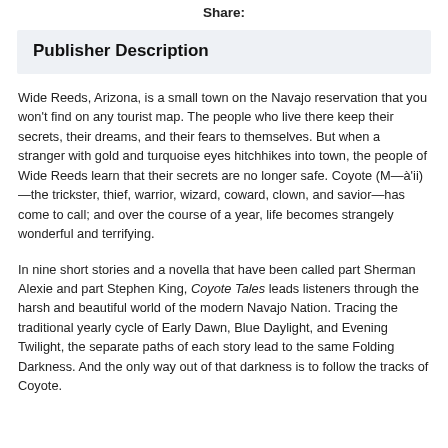Share:
Publisher Description
Wide Reeds, Arizona, is a small town on the Navajo reservation that you won't find on any tourist map. The people who live there keep their secrets, their dreams, and their fears to themselves. But when a stranger with gold and turquoise eyes hitchhikes into town, the people of Wide Reeds learn that their secrets are no longer safe. Coyote (M—à'ii)—the trickster, thief, warrior, wizard, coward, clown, and savior—has come to call; and over the course of a year, life becomes strangely wonderful and terrifying.
In nine short stories and a novella that have been called part Sherman Alexie and part Stephen King, Coyote Tales leads listeners through the harsh and beautiful world of the modern Navajo Nation. Tracing the traditional yearly cycle of Early Dawn, Blue Daylight, and Evening Twilight, the separate paths of each story lead to the same Folding Darkness. And the only way out of that darkness is to follow the tracks of Coyote.